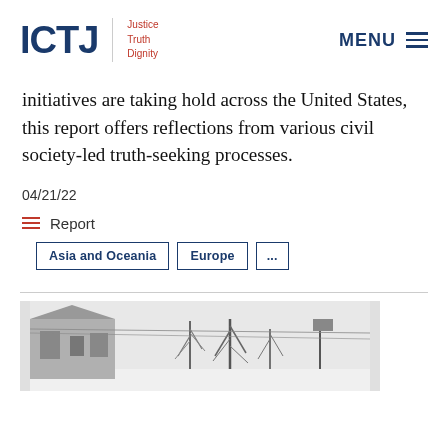ICTJ | Justice Truth Dignity | MENU
initiatives are taking hold across the United States, this report offers reflections from various civil society-led truth-seeking processes.
04/21/22
Report
Asia and Oceania   Europe   ...
[Figure (photo): Black and white photograph showing a building exterior with bare trees in the background, winter scene.]